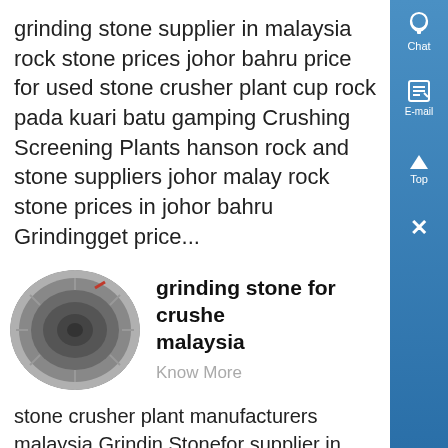grinding stone supplier in malaysia rock stone prices johor bahru price for used stone crusher plant cup rock pada kuari batu gamping Crushing Screening Plants hanson rock and stone suppliers johor malay rock stone prices in johor bahru Grindingget price...
[Figure (photo): Circular grinding stone/crusher disc equipment, silver metallic, top-down view, oval crop]
grinding stone for crusher malaysia
Know More
stone crusher plant manufacturers malaysia Grinding Stonefor supplier in Besides the major material processing equipment, SCM Machinery also can provide ....
[Figure (photo): Industrial silos/storage tanks at a plant facility, oval/circular crop]
Amazonin Grinding Stone